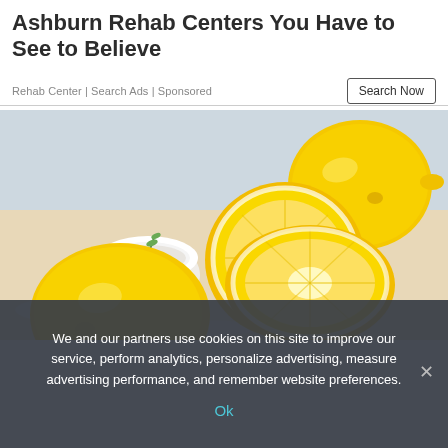Ashburn Rehab Centers You Have to See to Believe
Rehab Center | Search Ads | Sponsored
Search Now
[Figure (photo): Lemons and sliced citrus fruit on a wooden board with a small white bowl of baking soda and a rosemary sprig]
We and our partners use cookies on this site to improve our service, perform analytics, personalize advertising, measure advertising performance, and remember website preferences.
Ok